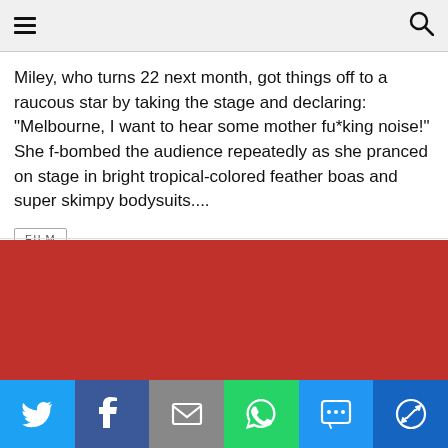☰  🔍
Miley, who turns 22 next month, got things off to a raucous star by taking the stage and declaring: "Melbourne, I want to hear some mother fu*king noise!" She f-bombed the audience repeatedly as she pranced on stage in bright tropical-colored feather boas and super skimpy bodysuits....
FILM
[Figure (other): Red background block (advertisement or image placeholder)]
[Figure (other): Social share bar with Twitter, Facebook, Email, WhatsApp, SMS, and More buttons]